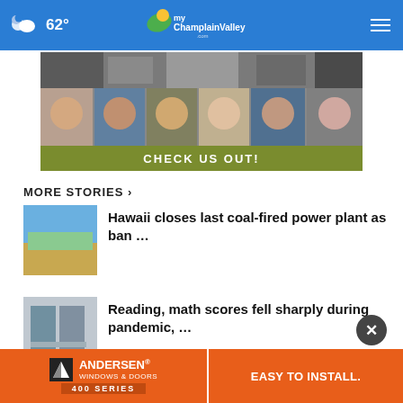62° myChamplainValley.com
[Figure (photo): Advertisement banner with gym equipment and staff photos with 'CHECK US OUT!' call to action]
MORE STORIES >
[Figure (photo): Thumbnail image for Hawaii coal-fired power plant story]
Hawaii closes last coal-fired power plant as ban ...
[Figure (photo): Thumbnail image for reading and math scores story]
Reading, math scores fell sharply during pandemic, ...
[Figure (photo): Thumbnail image for California wildfires story]
California wildfires prompt
Texas governor pushes back on raising
[Figure (advertisement): Andersen Windows & Doors 400 Series advertisement with 'EASY TO INSTALL.' text]